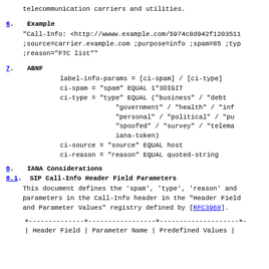telecommunication carriers and utilities.
6.  Example
"Call-Info: <http://wwww.example.com/5974c8d942f1203511
;source=carrier.example.com ;purpose=info ;spam=85 ;typ
;reason="FTC list""
7.  ABNF
label-info-params = [ci-spam] / [ci-type]
ci-spam = "spam" EQUAL 1*3DIGIT
ci-type = "type" EQUAL ("business" / "debt
          "government" / "health" / "inf
          "personal" / "political" / "pu
          "spoofed" / "survey" / "telema
          iana-token)
ci-source = "source" EQUAL host
ci-reason = "reason" EQUAL quoted-string
8.  IANA Considerations
8.1.  SIP Call-Info Header Field Parameters
This document defines the 'spam', 'type', 'reason' and
parameters in the Call-Info header in the "Header Field
and Parameter Values" registry defined by [RFC3968].
| Header Field | Parameter Name | Predefined Values |
| --- | --- | --- |